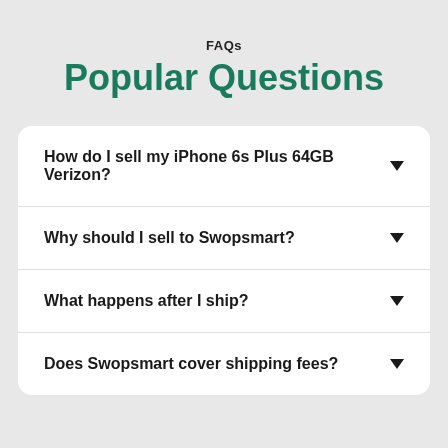FAQs
Popular Questions
How do I sell my iPhone 6s Plus 64GB Verizon?
Why should I sell to Swopsmart?
What happens after I ship?
Does Swopsmart cover shipping fees?